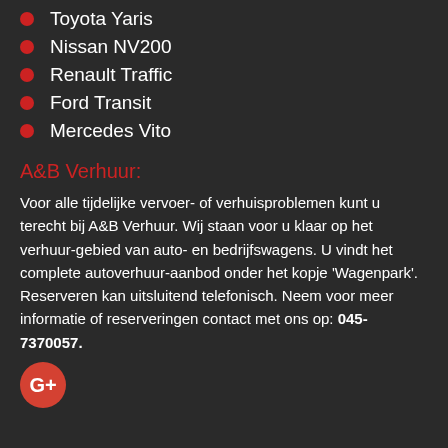Toyota Yaris
Nissan NV200
Renault Traffic
Ford Transit
Mercedes Vito
A&B Verhuur:
Voor alle tijdelijke vervoer- of verhuisproblemen kunt u terecht bij A&B Verhuur. Wij staan voor u klaar op het verhuur-gebied van auto- en bedrijfswagens. U vindt het complete autoverhuur-aanbod onder het kopje 'Wagenpark'. Reserveren kan uitsluitend telefonisch. Neem voor meer informatie of reserveringen contact met ons op: 045-7370057.
[Figure (logo): Google+ logo icon, red circular button with G+ symbol]